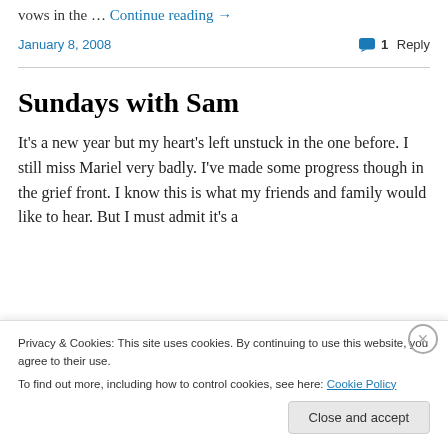vows in the … Continue reading →
January 8, 2008 · 1 Reply
Sundays with Sam
It's a new year but my heart's left unstuck in the one before. I still miss Mariel very badly. I've made some progress though in the grief front. I know this is what my friends and family would like to hear. But I must admit it's a
Privacy & Cookies: This site uses cookies. By continuing to use this website, you agree to their use. To find out more, including how to control cookies, see here: Cookie Policy